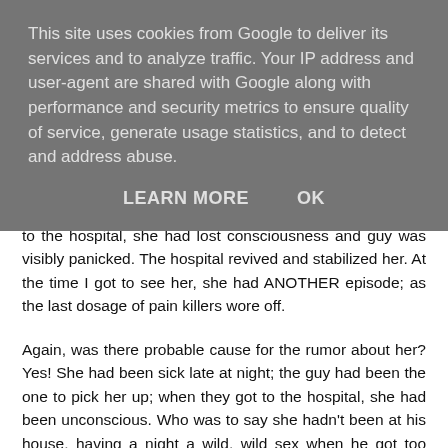This site uses cookies from Google to deliver its services and to analyze traffic. Your IP address and user-agent are shared with Google along with performance and security metrics to ensure quality of service, generate usage statistics, and to detect and address abuse.
LEARN MORE    OK
doubled over and writhing in pain. When she was rushed to the hospital, she had lost consciousness and guy was visibly panicked. The hospital revived and stabilized her. At the time I got to see her, she had ANOTHER episode; as the last dosage of pain killers wore off.
Again, was there probable cause for the rumor about her? Yes! She had been sick late at night; the guy had been the one to pick her up; when they got to the hospital, she had been unconscious. Who was to say she hadn't been at his house, having a night a wild, wild sex when he got too much for her and she lost consciousness?
Good thing is, I don't think she ever heard that rumor. I am